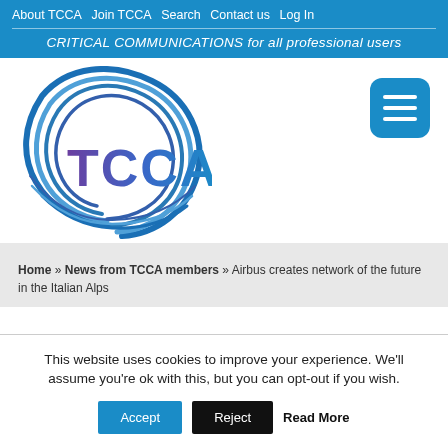About TCCA   Join TCCA   Search   Contact us   Log In
CRITICAL COMMUNICATIONS for all professional users
[Figure (logo): TCCA logo: circular swirl graphic in blue/purple with 'TCCA' text in purple/blue gradient, and a hamburger menu icon button (blue rounded square with three white lines) to the right]
Home » News from TCCA members » Airbus creates network of the future in the Italian Alps
This website uses cookies to improve your experience. We'll assume you're ok with this, but you can opt-out if you wish.
Accept   Reject   Read More